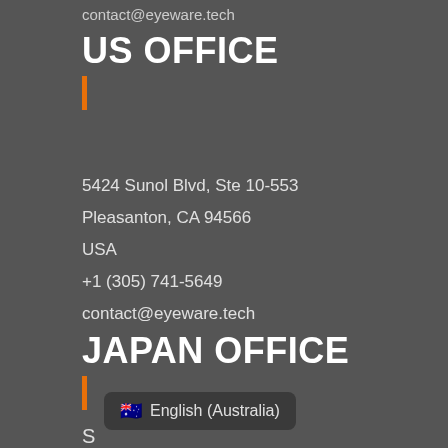contact@eyeware.tech
US OFFICE
5424 Sunol Blvd, Ste 10-553
Pleasanton, CA 94566
USA
+1 (305) 741-5649
contact@eyeware.tech
JAPAN OFFICE
English (Australia)
S